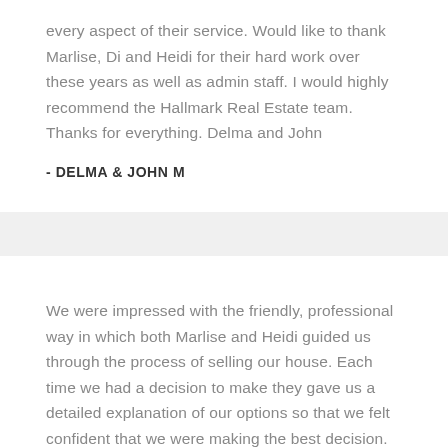every aspect of their service. Would like to thank Marlise, Di and Heidi for their hard work over these years as well as admin staff. I would highly recommend the Hallmark Real Estate team. Thanks for everything. Delma and John
- DELMA & JOHN M
We were impressed with the friendly, professional way in which both Marlise and Heidi guided us through the process of selling our house. Each time we had a decision to make they gave us a detailed explanation of our options so that we felt confident that we were making the best decision. We chose Hallmark to